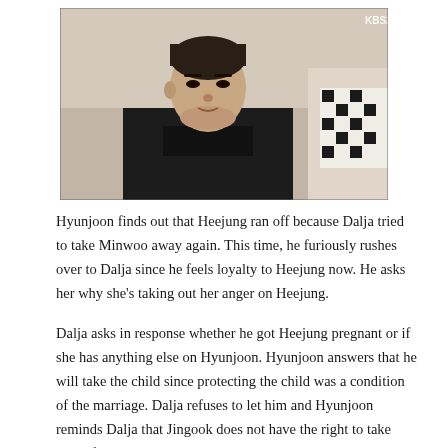[Figure (photo): A man in a dark turtleneck and coat sits and appears to be speaking, with a woman partially visible on the right side. KBS2 logo visible in top right corner.]
Hyunjoon finds out that Heejung ran off because Dalja tried to take Minwoo away again. This time, he furiously rushes over to Dalja since he feels loyalty to Heejung now. He asks her why she’s taking out her anger on Heejung.
Dalja asks in response whether he got Heejung pregnant or if she has anything else on Hyunjoon. Hyunjoon answers that he will take the child since protecting the child was a condition of the marriage. Dalja refuses to let him and Hyunjoon reminds Dalja that Jingook does not have the right to take care of Minwoo… Jingook cannot even pay monthly rent. He adds that Dalja should stop bothering Heejung and leaves. So, Dalja runs to Jingook and tells him to give up since